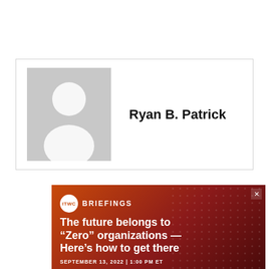[Figure (photo): Profile card with generic person silhouette placeholder avatar on the left and name 'Ryan B. Patrick' on the right]
Ryan B. Patrick
[Figure (illustration): ITWC Briefings advertisement banner with dark red/orange gradient background. Text reads: 'ITWC BRIEFINGS — The future belongs to "Zero" organizations — Here's how to get there. SEPTEMBER 13, 2022 | 1:00 PM ET']